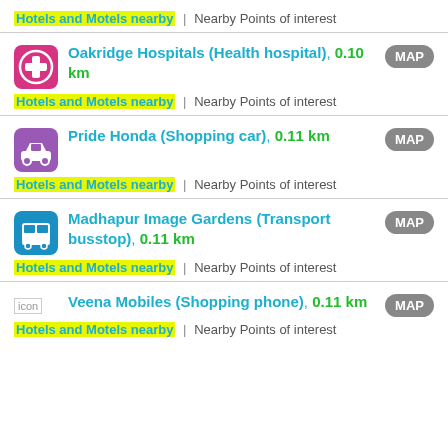Hotels and Motels nearby | Nearby Points of interest
Oakridge Hospitals (Health hospital), 0.10 km MAP
Hotels and Motels nearby | Nearby Points of interest
Pride Honda (Shopping car), 0.11 km MAP
Hotels and Motels nearby | Nearby Points of interest
Madhapur Image Gardens (Transport busstop), 0.11 km MAP
Hotels and Motels nearby | Nearby Points of interest
Veena Mobiles (Shopping phone), 0.11 km MAP
Hotels and Motels nearby | Nearby Points of interest